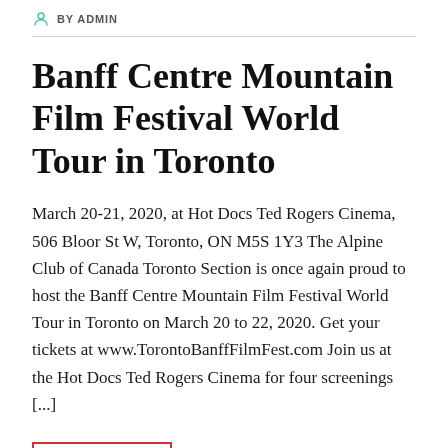BY ADMIN
Banff Centre Mountain Film Festival World Tour in Toronto
March 20-21, 2020, at Hot Docs Ted Rogers Cinema, 506 Bloor St W, Toronto, ON M5S 1Y3 The Alpine Club of Canada Toronto Section is once again proud to host the Banff Centre Mountain Film Festival World Tour in Toronto on March 20 to 22, 2020. Get your tickets at www.TorontoBanffFilmFest.com Join us at the Hot Docs Ted Rogers Cinema for four screenings [...]
Read more